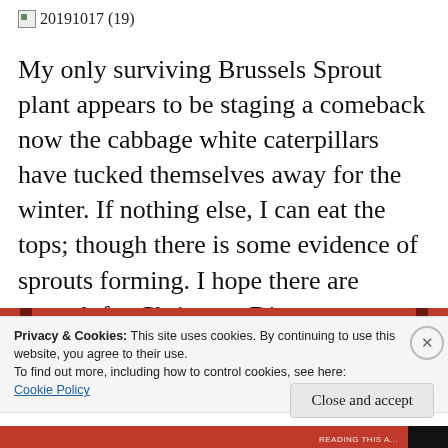20191017 (19)
My only surviving Brussels Sprout plant appears to be staging a comeback now the cabbage white caterpillars have tucked themselves away for the winter. If nothing else, I can eat the tops; though there is some evidence of sprouts forming. I hope there are enough for Christmas Dinner.
[Figure (screenshot): Red book banner with a dark 'Start reading' button on a red background]
Privacy & Cookies: This site uses cookies. By continuing to use this website, you agree to their use.
To find out more, including how to control cookies, see here: Cookie Policy
Close and accept